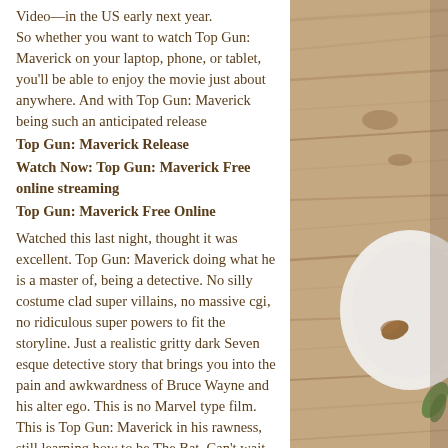Video—in the US early next year.
So whether you want to watch Top Gun: Maverick on your laptop, phone, or tablet, you'll be able to enjoy the movie just about anywhere. And with Top Gun: Maverick being such an anticipated release
Top Gun: Maverick Release
Watch Now: Top Gun: Maverick Free online streaming
Top Gun: Maverick Free Online
Watched this last night, thought it was excellent. Top Gun: Maverick doing what he is a master of, being a detective. No silly costume clad super villains, no massive cgi, no ridiculous super powers to fit the storyline. Just a realistic gritty dark Seven esque detective story that brings you into the pain and awkwardness of Bruce Wayne and his alter ego. This is no Marvel type film. This is Top Gun: Maverick in his rawness, still learning how to be The Bat. Can't wait for the
[Figure (photo): Photo of a wooden table with a white plate and food items (nuts, greens) in the right portion of the page]